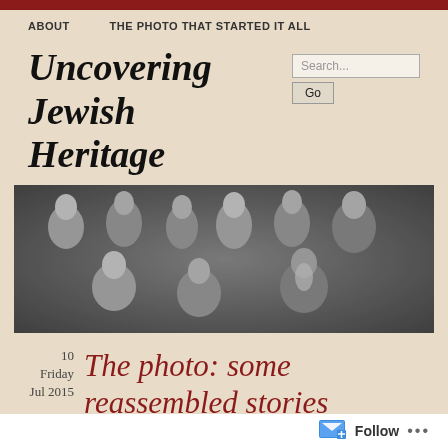ABOUT   THE PHOTO THAT STARTED IT ALL
Uncovering Jewish Heritage
[Figure (photo): Black and white vintage group photograph showing approximately 8-9 people, men and women, posed together in formal attire from early 20th century]
10
Friday
Jul 2015
The photo: some reassembled stories